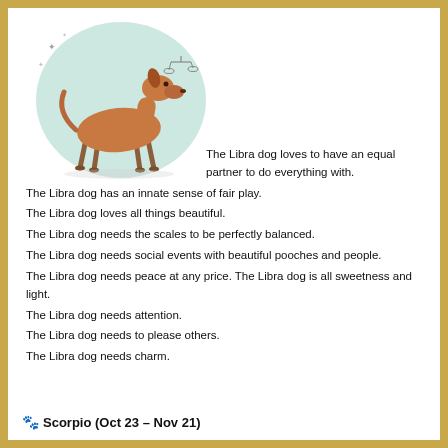[Figure (illustration): Illustration of a slender brown dog (greyhound-like) standing in a circular vignette with a teal/light green background and decorative stars and scales motif, watercolor style.]
The Libra dog loves to have an equal partner to do everything with.
The Libra dog has an innate sense of fair play.
The Libra dog loves all things beautiful.
The Libra dog needs the scales to be perfectly balanced.
The Libra dog needs social events with beautiful pooches and people.
The Libra dog needs peace at any price. The Libra dog is all sweetness and light.
The Libra dog needs attention.
The Libra dog needs to please others.
The Libra dog needs charm.
🐾 Scorpio (Oct 23 – Nov 21)